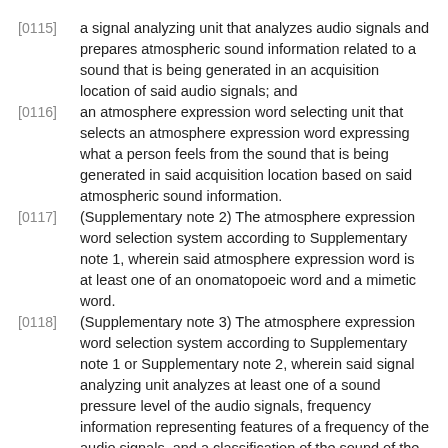[0115] a signal analyzing unit that analyzes audio signals and prepares atmospheric sound information related to a sound that is being generated in an acquisition location of said audio signals; and
[0116] an atmosphere expression word selecting unit that selects an atmosphere expression word expressing what a person feels from the sound that is being generated in said acquisition location based on said atmospheric sound information.
[0117] (Supplementary note 2) The atmosphere expression word selection system according to Supplementary note 1, wherein said atmosphere expression word is at least one of an onomatopoeic word and a mimetic word.
[0118] (Supplementary note 3) The atmosphere expression word selection system according to Supplementary note 1 or Supplementary note 2, wherein said signal analyzing unit analyzes at least one of a sound pressure level of the audio signals, frequency information representing features of a frequency of the audio signals, and a classification of the sound of the audio signals,